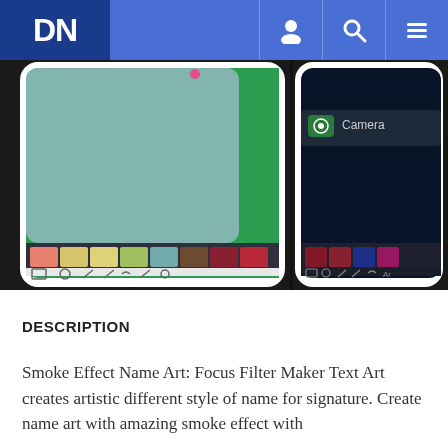DN [navigation bar with user, search, and menu icons]
[Figure (screenshot): Two smartphone screenshots showing a drawing/art app with color palettes. Left screenshot shows a light blue and green canvas with dark color swatch bar at bottom containing colored squares (salmon, yellow, light yellow, green, teal, brown, dark red, red) and tool icons. Right screenshot shows a darker interface with a Camera option visible, and similar color swatches at bottom.]
DESCRIPTION
Smoke Effect Name Art: Focus Filter Maker Text Art creates artistic different style of name for signature. Create name art with amazing smoke effect with